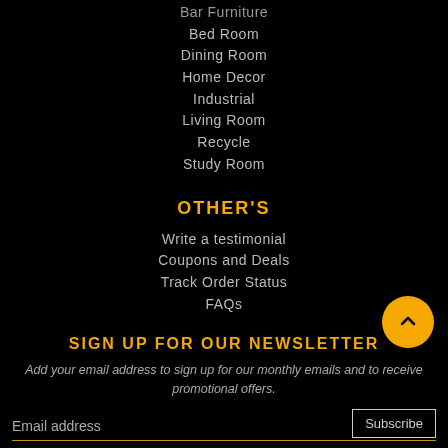Bar Furniture
Bed Room
Dining Room
Home Decor
Industrial
Living Room
Recycle
Study Room
OTHER'S
Write a testimonial
Coupons and Deals
Track Order Status
FAQs
SIGN UP FOR OUR NEWSLETTER
Add your email address to sign up for our monthly emails and to receive promotional offers.
Email address
Subscribe
GET IT ON